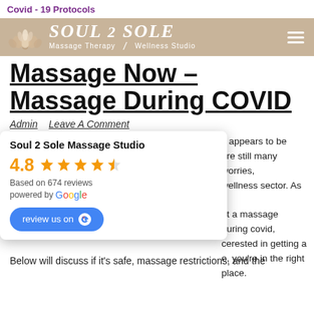Covid - 19 Protocols
[Figure (logo): Soul 2 Sole Massage Therapy & Wellness Studio logo with lotus flower]
Massage Now – Massage During COVID
Admin   Leave A Comment
[Figure (infographic): Google review popup: Soul 2 Sole Massage Studio, 4.8 stars, Based on 674 reviews, powered by Google, review us on Google button]
c appears to be are still many worries, wellness sector. As a ut a massage during covid, cerested in getting a e, you're in the right place.
Below will discuss if it's safe, massage restrictions, and the